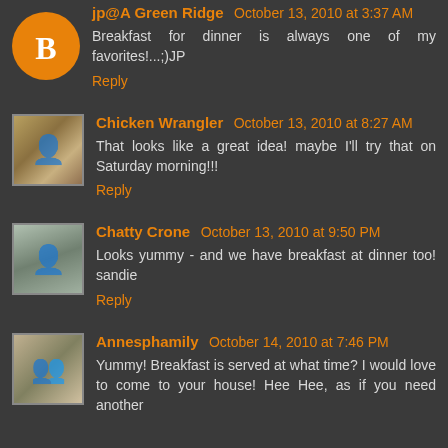jp@A Green Ridge October 13, 2010 at 3:37 AM
Breakfast for dinner is always one of my favorites!...;)JP
Reply
Chicken Wrangler October 13, 2010 at 8:27 AM
That looks like a great idea! maybe I'll try that on Saturday morning!!!
Reply
Chatty Crone October 13, 2010 at 9:50 PM
Looks yummy - and we have breakfast at dinner too! sandie
Reply
Annesphamily October 14, 2010 at 7:46 PM
Yummy! Breakfast is served at what time? I would love to come to your house! Hee Hee, as if you need another